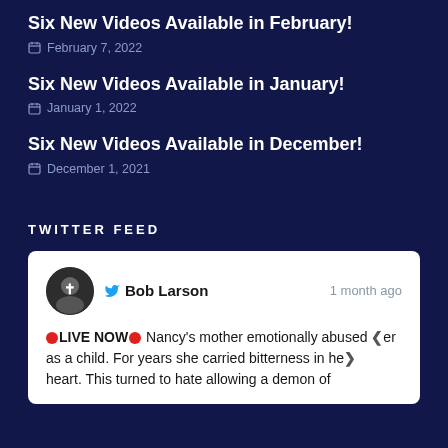Six New Videos Available in February!
February 7, 2022
Six New Videos Available in January!
January 1, 2022
Six New Videos Available in December!
December 1, 2021
TWITTER FEED
Bob Larson 1 month ago 🔴LIVE NOW🔴 Nancy's mother emotionally abused her as a child. For years she carried bitterness in her heart. This turned to hate allowing a demon of